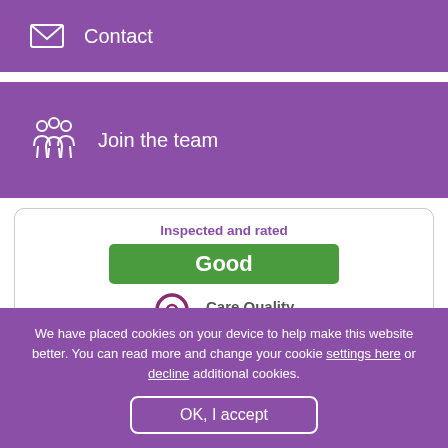[Figure (illustration): Purple bar with envelope/mail icon and 'Contact' label]
[Figure (illustration): Purple bar with people/team icon and 'Join the team' label]
[Figure (logo): CQC card: 'Inspected and rated Good' badge with Care Quality Commission logo]
We have placed cookies on your device to help make this website better. You can read more and change your cookie settings here or decline additional cookies.
OK, I accept